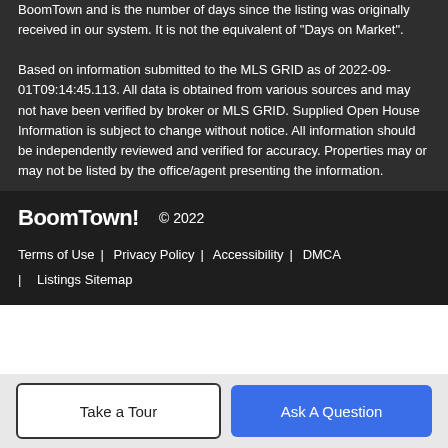BoomTown and is the number of days since the listing was originally received in our system. It is not the equivalent of "Days on Market".
Based on information submitted to the MLS GRID as of 2022-09-01T09:14:45.113. All data is obtained from various sources and may not have been verified by broker or MLS GRID. Supplied Open House Information is subject to change without notice. All information should be independently reviewed and verified for accuracy. Properties may or may not be listed by the office/agent presenting the information.
BoomTown! © 2022 | Terms of Use | Privacy Policy | Accessibility | DMCA | Listings Sitemap